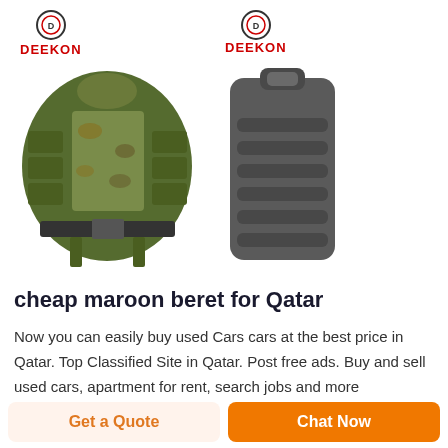[Figure (photo): Two product images side by side: left shows a camouflage tactical vest with DEEKON logo above it, right shows a dark gray ballistic shield with DEEKON logo above it.]
cheap maroon beret for Qatar
Now you can easily buy used Cars cars at the best price in Qatar. Top Classified Site in Qatar. Post free ads. Buy and sell used cars, apartment for rent, search jobs and more